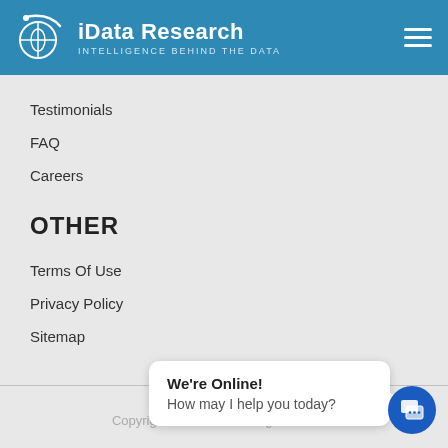iData Research — INTELLIGENCE BEHIND THE DATA
Testimonials
FAQ
Careers
OTHER
Terms Of Use
Privacy Policy
Sitemap
Copyright © 2021 … All rights reserved
We're Online!
How may I help you today?